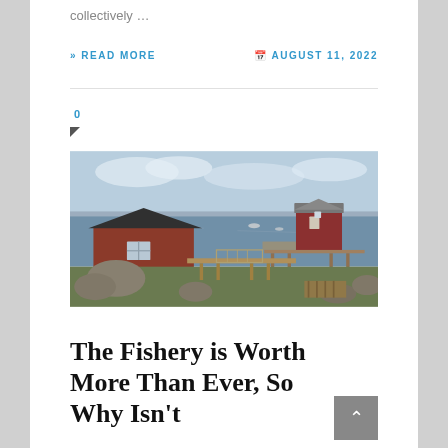collectively …
» READ MORE
AUGUST 11, 2022
0
[Figure (photo): Coastal fishing shacks on stilts over water, red wooden buildings on a pier, rocks and grass in foreground, calm sea and distant shoreline in background]
The Fishery is Worth More Than Ever, So Why Isn't